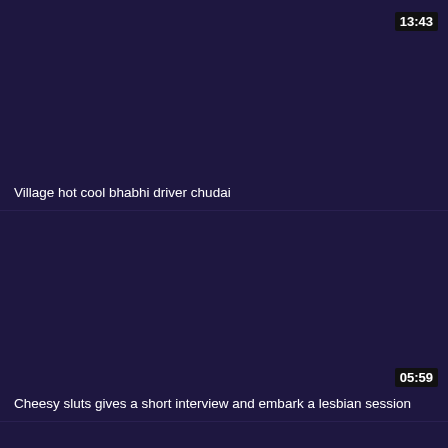[Figure (screenshot): Video thumbnail card 1 - dark navy/purple background with duration badge 13:43 in top right]
Village hot cool bhabhi driver chudai
[Figure (screenshot): Video thumbnail card 2 - dark navy/purple background with duration badge 05:59 in bottom right]
Cheesy sluts gives a short interview and embark a lesbian session
[Figure (screenshot): Video thumbnail card 3 - dark navy/purple background, partial view at bottom]